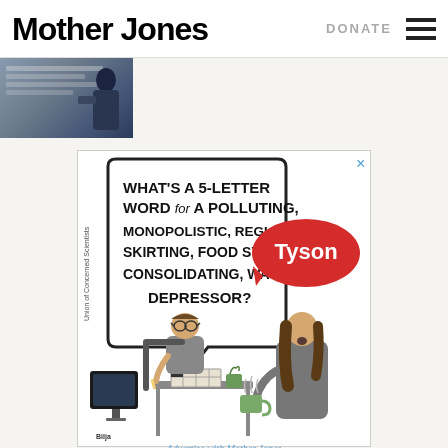Mother Jones | DONATE
[Figure (photo): Partial cropped photo visible at top left showing a person and documents, partially cut off]
[Figure (illustration): Advertisement cartoon illustration by Bilja for Union of Concerned Scientists. Shows a man sitting at a table doing a crossword puzzle, with a speech bubble reading: WHAT'S A 5-LETTER WORD for A POLLUTING, MONOPOLISTIC, REGULATION-SKIRTING, FOOD SYSTEM CONSOLIDATING, WAGE DEPRESSOR? A Tyson Foods logo speech bubble responds. A woman stands nearby holding a steaming mug.]
Advertise with Mother Jones